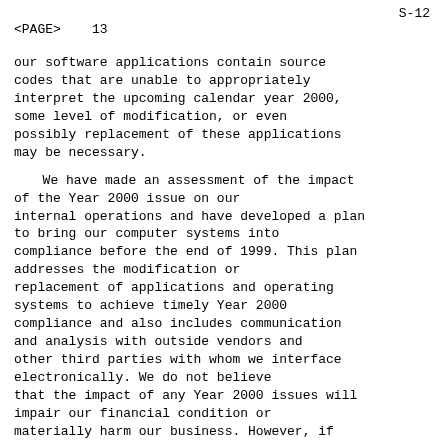S-12
<PAGE>    13
our software applications contain source codes that are unable to appropriately interpret the upcoming calendar year 2000, some level of modification, or even possibly replacement of these applications may be necessary.
We have made an assessment of the impact of the Year 2000 issue on our internal operations and have developed a plan to bring our computer systems into compliance before the end of 1999. This plan addresses the modification or replacement of applications and operating systems to achieve timely Year 2000 compliance and also includes communication and analysis with outside vendors and other third parties with whom we interface electronically. We do not believe that the impact of any Year 2000 issues will impair our financial condition or materially harm our business. However, if